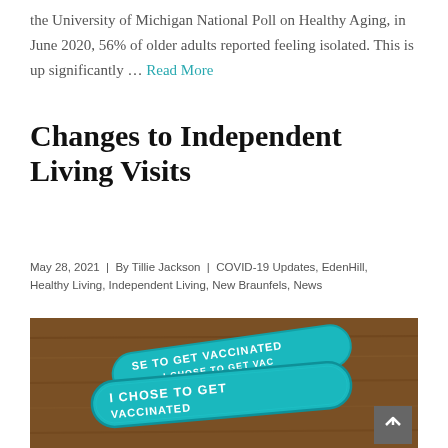the University of Michigan National Poll on Healthy Aging, in June 2020, 56% of older adults reported feeling isolated. This is up significantly … Read More
Changes to Independent Living Visits
May 28, 2021  |  By Tillie Jackson  |  COVID-19 Updates, EdenHill, Healthy Living, Independent Living, New Braunfels, News
[Figure (photo): Photo of two teal/green silicone wristbands with white text reading 'I CHOSE TO GET VACCINATED' on a wooden background]